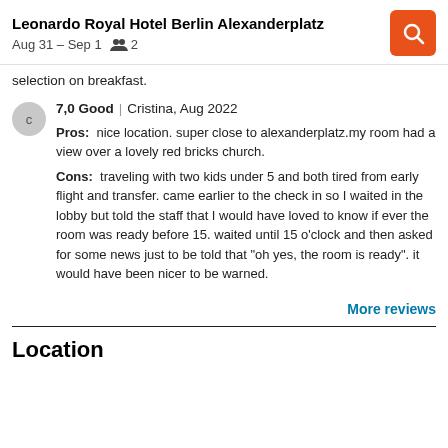Leonardo Royal Hotel Berlin Alexanderplatz
Aug 31 – Sep 1  2
selection on breakfast.
7.0 Good | Cristina, Aug 2022
Pros: nice location. super close to alexanderplatz.my room had a view over a lovely red bricks church.
Cons: traveling with two kids under 5 and both tired from early flight and transfer. came earlier to the check in so I waited in the lobby but told the staff that I would have loved to know if ever the room was ready before 15. waited until 15 o'clock and then asked for some news just to be told that "oh yes, the room is ready". it would have been nicer to be warned.
More reviews
Location